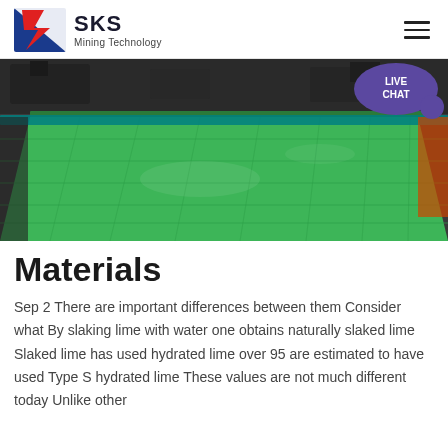SKS Mining Technology
[Figure (photo): Industrial green rubber/polymer panels laid on a large surface inside a mining facility, viewed from an angle. A 'LIVE CHAT' bubble overlay appears in the top right corner.]
Materials
Sep 2 There are important differences between them Consider what By slaking lime with water one obtains naturally slaked lime Slaked lime has used hydrated lime over 95 are estimated to have used Type S hydrated lime These values are not much different today Unlike other